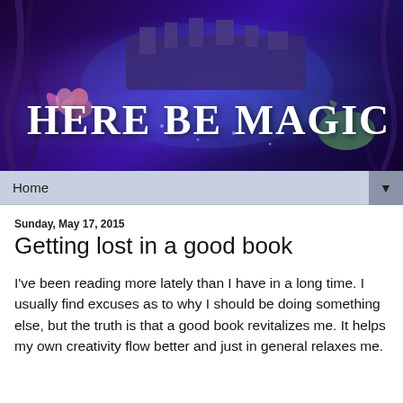[Figure (illustration): Fantasy banner image with dark purple/blue background, futuristic castle/spaceship structure, fairy figure on left, dragon creature on right, text 'HERE BE MAGIC' in large white serif font]
Home ▼
Sunday, May 17, 2015
Getting lost in a good book
I've been reading more lately than I have in a long time. I usually find excuses as to why I should be doing something else, but the truth is that a good book revitalizes me. It helps my own creativity flow better and just in general relaxes me.